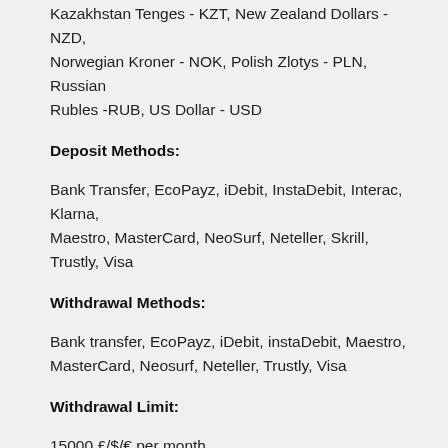Kazakhstan Tenges - KZT, New Zealand Dollars - NZD, Norwegian Kroner - NOK, Polish Zlotys - PLN, Russian Rubles -RUB, US Dollar - USD
Deposit Methods:
Bank Transfer, EcoPayz, iDebit, InstaDebit, Interac, Klarna, Maestro, MasterCard, NeoSurf, Neteller, Skrill, Trustly, Visa
Withdrawal Methods:
Bank transfer, EcoPayz, iDebit, instaDebit, Maestro, MasterCard, Neosurf, Neteller, Trustly, Visa
Withdrawal Limit:
15000 £/$/€ per month
Support